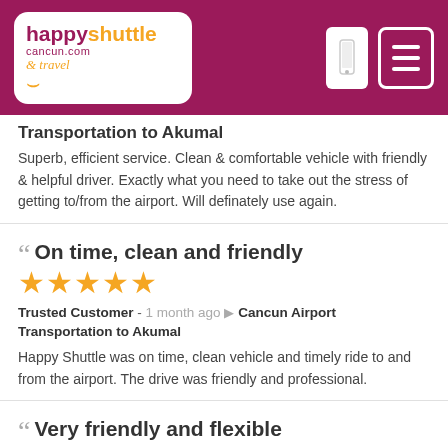[Figure (logo): Happy Shuttle Cancun.com & travel logo in white rounded box on dark magenta header bar]
Transportation to Akumal
Superb, efficient service. Clean & comfortable vehicle with friendly & helpful driver. Exactly what you need to take out the stress of getting to/from the airport. Will definately use again.
On time, clean and friendly
★★★★★
Trusted Customer - 1 month ago 🏷 Cancun Airport Transportation to Akumal
Happy Shuttle was on time, clean vehicle and timely ride to and from the airport. The drive was friendly and professional.
Very friendly and flexible
★★★★★
Jackson - 1 month ago 🏷 Cancun Airport Transportation to Akumal